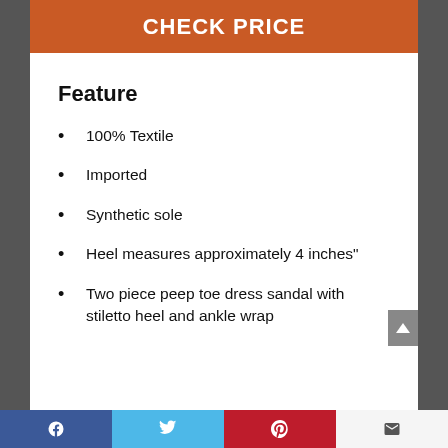CHECK PRICE
Feature
100% Textile
Imported
Synthetic sole
Heel measures approximately 4 inches"
Two piece peep toe dress sandal with stiletto heel and ankle wrap
Facebook | Twitter | Pinterest | Email